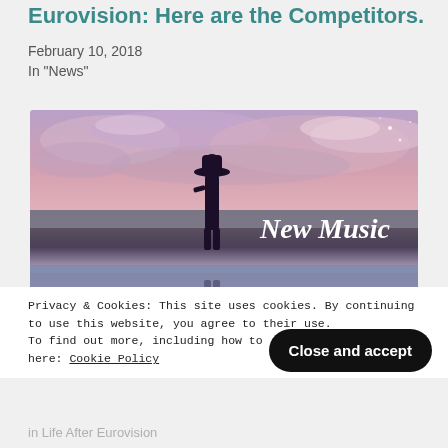Eurovision: Here are the Competitors.
February 10, 2018
In "News"
[Figure (photo): A silhouette of a person wearing a hat standing on a beach at sunset with dramatic pink and purple clouds, with text 'New Music' in white italic script on the right side. The scene is reflected in water below.]
Privacy & Cookies: This site uses cookies. By continuing to use this website, you agree to their use. To find out more, including how to control cookies, see here: Cookie Policy
Close and accept
in Life After Eurovision